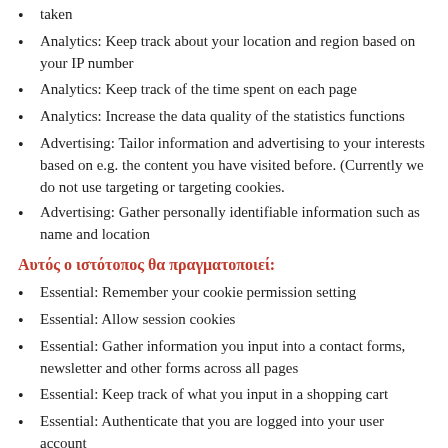taken
Analytics: Keep track about your location and region based on your IP number
Analytics: Keep track of the time spent on each page
Analytics: Increase the data quality of the statistics functions
Advertising: Tailor information and advertising to your interests based on e.g. the content you have visited before. (Currently we do not use targeting or targeting cookies.
Advertising: Gather personally identifiable information such as name and location
Αυτός ο ιστότοπος θα πραγματοποιεί:
Essential: Remember your cookie permission setting
Essential: Allow session cookies
Essential: Gather information you input into a contact forms, newsletter and other forms across all pages
Essential: Keep track of what you input in a shopping cart
Essential: Authenticate that you are logged into your user account
Essential: Remember language version you selected
Functionality: Remember social media settings
Functionality: Remember selected region and country
Αυτός ο ιστότοπος θα πραγματοποιεί: